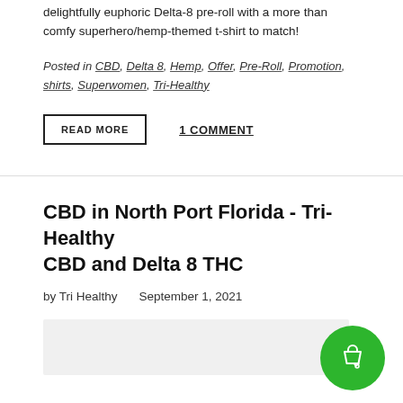delightfully euphoric Delta-8 pre-roll with a more than comfy superhero/hemp-themed t-shirt to match!
Posted in CBD, Delta 8, Hemp, Offer, Pre-Roll, Promotion, shirts, Superwomen, Tri-Healthy
READ MORE   1 COMMENT
CBD in North Port Florida - Tri-Healthy CBD and Delta 8 THC
by Tri Healthy   September 1, 2021
[Figure (photo): Gray placeholder image area for article thumbnail]